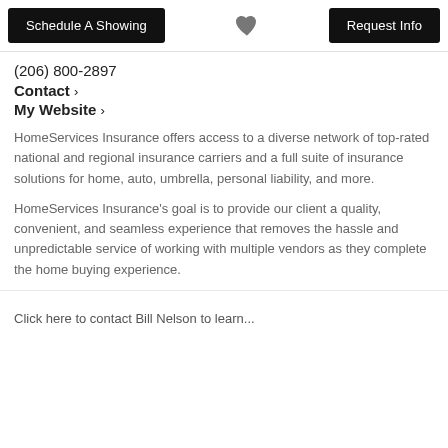Schedule A Showing | [heart icon] | Request Info
(206) 800-2897
Contact >
My Website >
HomeServices Insurance offers access to a diverse network of top-rated national and regional insurance carriers and a full suite of insurance solutions for home, auto, umbrella, personal liability, and more.
HomeServices Insurance's goal is to provide our client a quality, convenient, and seamless experience that removes the hassle and unpredictable service of working with multiple vendors as they complete the home buying experience.
Click here to contact Bill Nelson to learn...